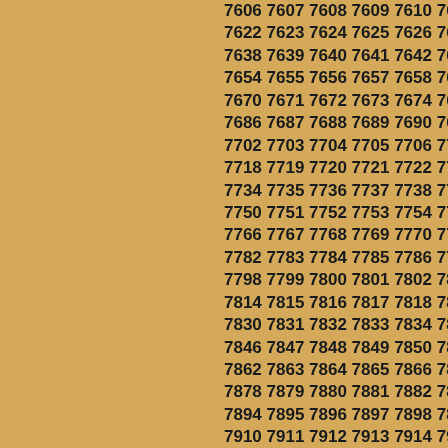7606 7607 7608 7609 7610 7611 7612 7622 7623 7624 7625 7626 7627 7628 7638 7639 7640 7641 7642 7643 7644 7654 7655 7656 7657 7658 7659 7660 7670 7671 7672 7673 7674 7675 7676 7686 7687 7688 7689 7690 7691 7692 7702 7703 7704 7705 7706 7707 7708 7718 7719 7720 7721 7722 7723 7724 7734 7735 7736 7737 7738 7739 7740 7750 7751 7752 7753 7754 7755 7756 7766 7767 7768 7769 7770 7771 7772 7782 7783 7784 7785 7786 7787 7788 7798 7799 7800 7801 7802 7803 7804 7814 7815 7816 7817 7818 7819 7820 7830 7831 7832 7833 7834 7835 7836 7846 7847 7848 7849 7850 7851 7852 7862 7863 7864 7865 7866 7867 7868 7878 7879 7880 7881 7882 7883 7884 7894 7895 7896 7897 7898 7899 7900 7910 7911 7912 7913 7914 7915 7916 7926 7927 7928 7929 7930 7931 7932